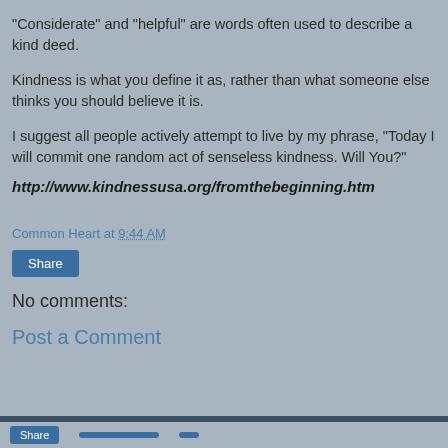"Considerate" and "helpful" are words often used to describe a kind deed.
Kindness is what you define it as, rather than what someone else thinks you should believe it is.
I suggest all people actively attempt to live by my phrase, "Today I will commit one random act of senseless kindness. Will You?"
http://www.kindnessusa.org/fromthebeginning.htm
Common Heart at 9:44 AM
Share
No comments:
Post a Comment